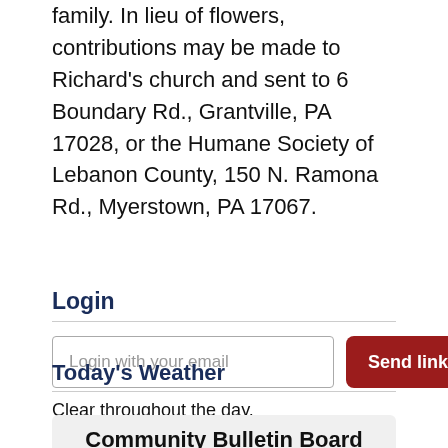family. In lieu of flowers, contributions may be made to Richard's church and sent to 6 Boundary Rd., Grantville, PA 17028, or the Humane Society of Lebanon County, 150 N. Ramona Rd., Myerstown, PA 17067.
Login
Login with your email
Send link
Today's Weather
Clear throughout the day.
Community Bulletin Board